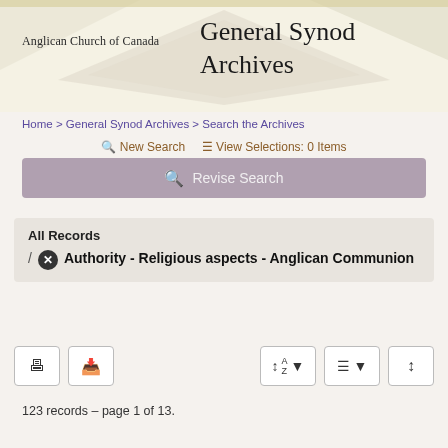Anglican Church of Canada   General Synod Archives
Home > General Synod Archives > Search the Archives
New Search   View Selections: 0 Items
Revise Search
All Records
/ ✕ Authority - Religious aspects - Anglican Communion
123 records – page 1 of 13.